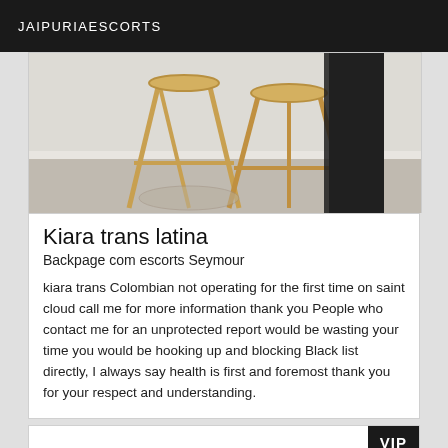JAIPURIAESCORTS
[Figure (photo): Photo showing legs of a person in dark tights/stockings next to golden bar stools on a light floor]
Kiara trans latina
Backpage com escorts Seymour
kiara trans Colombian not operating for the first time on saint cloud call me for more information thank you People who contact me for an unprotected report would be wasting your time you would be hooking up and blocking Black list directly, I always say health is first and foremost thank you for your respect and understanding.
[Figure (other): White card area with VIP badge in upper right corner]